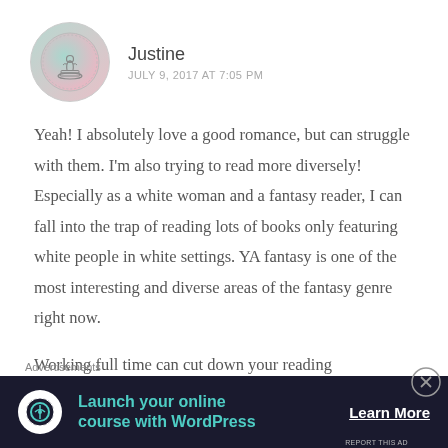[Figure (illustration): Circular avatar with gradient background (teal to pink), containing a small line-art figure of a person sitting on books, with a circular border]
Justine
JULY 9, 2017 AT 7:05 PM
Yeah! I absolutely love a good romance, but can struggle with them. I'm also trying to read more diversely! Especially as a white woman and a fantasy reader, I can fall into the trap of reading lots of books only featuring white people in white settings. YA fantasy is one of the most interesting and diverse areas of the fantasy genre right now.
Working full time can cut down your reading
Advertisements
[Figure (other): Dark advertisement banner: 'Launch your online course with WordPress' with Learn More button and Teach.me logo]